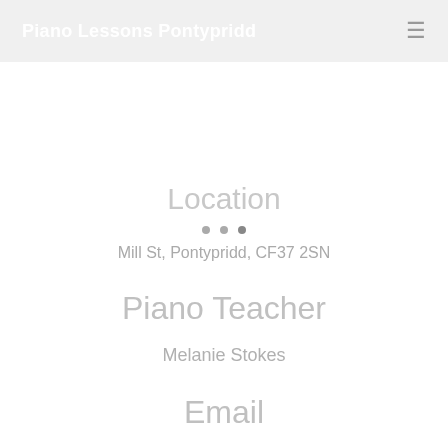Piano Lessons Pontypridd
Location
Mill St, Pontypridd, CF37 2SN
Piano Teacher
Melanie Stokes
Email
melanie.stokes@musicteacher.com